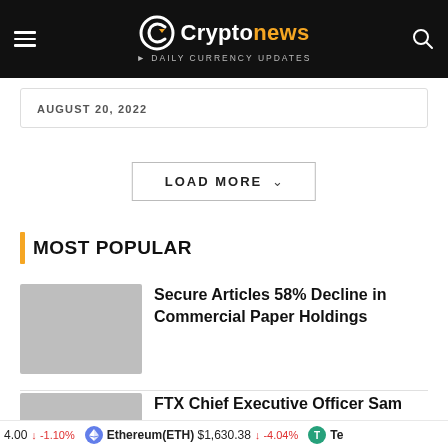Cryptonews - daily currency updates
AUGUST 20, 2022
LOAD MORE
MOST POPULAR
Secure Articles 58% Decline in Commercial Paper Holdings
FTX Chief Executive Officer Sam
4.00  -1.10%  Ethereum(ETH)  $1,630.38  -4.04%  Te